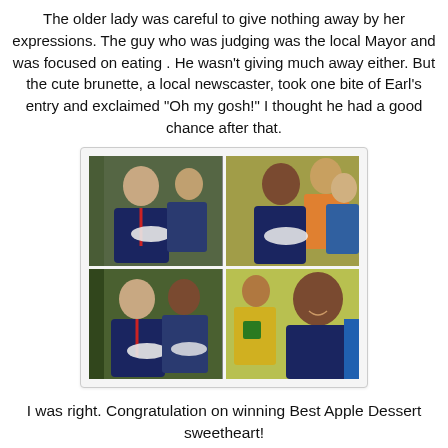The older lady was careful to give nothing away by her expressions. The guy who was judging was the local Mayor and was focused on eating . He wasn't giving much away either. But the cute brunette, a local newscaster, took one bite of Earl's entry and exclaimed "Oh my gosh!" I thought he had a good chance after that.
[Figure (photo): 2x2 grid of outdoor photos showing people at what appears to be a food judging event, holding plates and eating. Women in dark shirts are visible along with other attendees in an outdoor setting.]
I was right. Congratulation on winning Best Apple Dessert sweetheart!
[Figure (photo): Photo of two people outdoors with trees in the background, partially visible at bottom of page.]